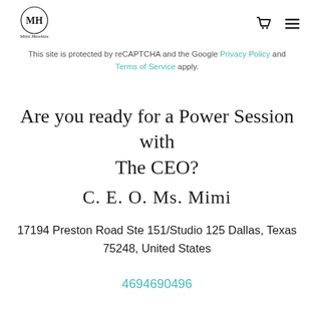[Figure (logo): Mimi Hawkins brand logo — circular emblem with 'MH' monogram and cursive 'Mimi Hawkins' text below]
This site is protected by reCAPTCHA and the Google Privacy Policy and Terms of Service apply.
Are you ready for a Power Session with The CEO?
C. E. O. Ms. Mimi
17194 Preston Road Ste 151/Studio 125 Dallas, Texas 75248, United States
4694690496